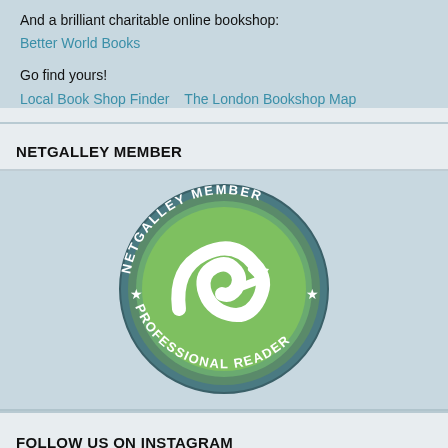And a brilliant charitable online bookshop:
Better World Books
Go find yours!
Local Book Shop Finder  The London Bookshop Map
NETGALLEY MEMBER
[Figure (logo): NetGalley Member Professional Reader badge — circular badge with dark teal border, green center with white swirl/arrow logo, text reading NETGALLEY MEMBER around top and PROFESSIONAL READER around bottom, with two small stars on left and right sides.]
FOLLOW US ON INSTAGRAM
[Figure (photo): Partial photo showing green foliage and dark curved shapes, appears to be outdoor Instagram photo.]